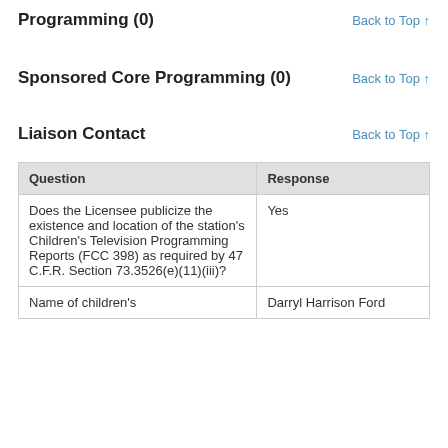Programming (0)
Sponsored Core Programming (0)
Liaison Contact
| Question | Response |
| --- | --- |
| Does the Licensee publicize the existence and location of the station's Children's Television Programming Reports (FCC 398) as required by 47 C.F.R. Section 73.3526(e)(11)(iii)? | Yes |
| Name of children's | Darryl Harrison Ford |